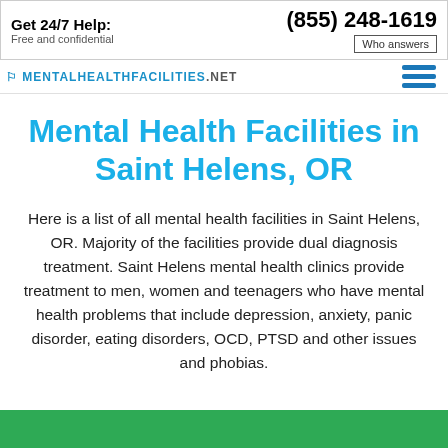Get 24/7 Help: Free and confidential | (855) 248-1619 | Who answers
MENTALHEALTHFACILITIES.NET
Mental Health Facilities in Saint Helens, OR
Here is a list of all mental health facilities in Saint Helens, OR. Majority of the facilities provide dual diagnosis treatment. Saint Helens mental health clinics provide treatment to men, women and teenagers who have mental health problems that include depression, anxiety, panic disorder, eating disorders, OCD, PTSD and other issues and phobias.